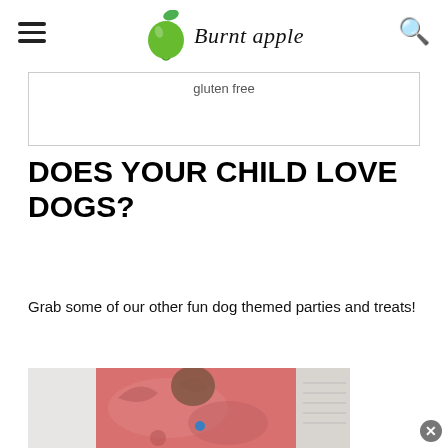Burnt apple
[Figure (other): Ad box with 'gluten free' text]
DOES YOUR CHILD LOVE DOGS?
Grab some of our other fun dog themed parties and treats!
[Figure (photo): A dog wearing a pink paisley bandana or outfit, with background of white items]